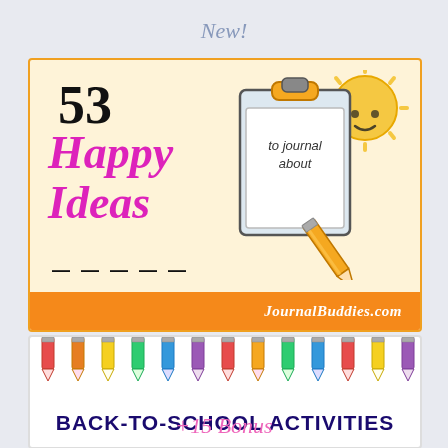New!
[Figure (illustration): Promotional card with '53 Happy Ideas to journal about' on a cream background with orange border, clipboard illustration, happy sun cartoon, pencil drawing, orange footer bar with JournalBuddies.com]
JournalBuddies.com
[Figure (illustration): Back-to-school activities card with row of colorful pencils at top and dark purple bold text reading BACK-TO-SCHOOL ACTIVITIES]
BACK-TO-SCHOOL ACTIVITIES
+15 Bonus